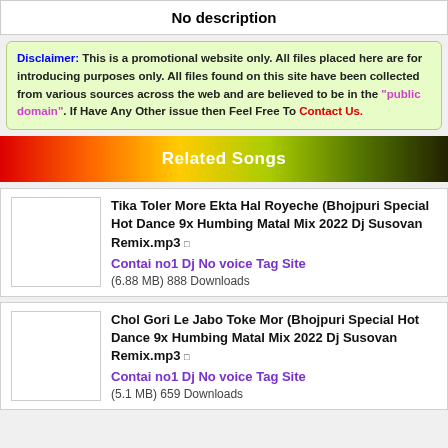No description
Disclaimer: This is a promotional website only. All files placed here are for introducing purposes only. All files found on this site have been collected from various sources across the web and are believed to be in the "public domain". If Have Any Other issue then Feel Free To Contact Us.
Related Songs
Tika Toler More Ekta Hal Royeche (Bhojpuri Special Hot Dance 9x Humbing Matal Mix 2022 Dj Susovan Remix.mp3 □
Contai no1 Dj No voice Tag Site
(6.88 MB) 888 Downloads
Chol Gori Le Jabo Toke Mor (Bhojpuri Special Hot Dance 9x Humbing Matal Mix 2022 Dj Susovan Remix.mp3 □
Contai no1 Dj No voice Tag Site
(5.1 MB) 659 Downloads